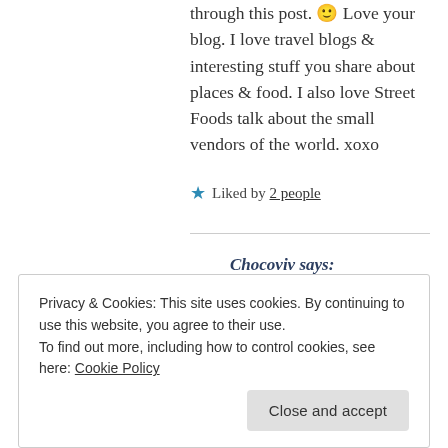through this post. 🙂 Love your blog. I love travel blogs & interesting stuff you share about places & food. I also love Street Foods talk about the small vendors of the world. xoxo
★ Liked by 2 people
Chocoviv says: June 17, 2019 at 7:00 am
Privacy & Cookies: This site uses cookies. By continuing to use this website, you agree to their use. To find out more, including how to control cookies, see here: Cookie Policy
Close and accept